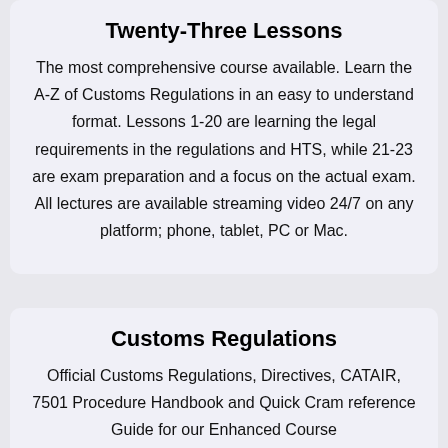Twenty-Three Lessons
The most comprehensive course available. Learn the A-Z of Customs Regulations in an easy to understand format. Lessons 1-20 are learning the legal requirements in the regulations and HTS, while 21-23 are exam preparation and a focus on the actual exam. All lectures are available streaming video 24/7 on any platform; phone, tablet, PC or Mac.
Customs Regulations
Official Customs Regulations, Directives, CATAIR, 7501 Procedure Handbook and Quick Cram reference Guide for our Enhanced Course